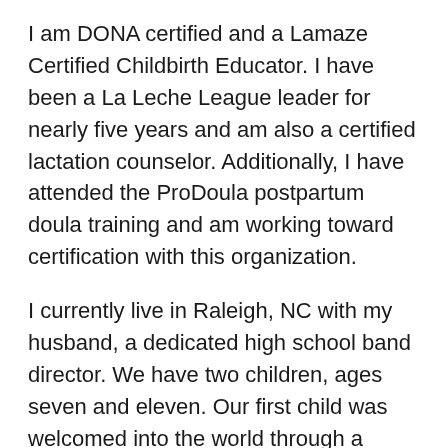I am DONA certified and a Lamaze Certified Childbirth Educator. I have been a La Leche League leader for nearly five years and am also a certified lactation counselor. Additionally, I have attended the ProDoula postpartum doula training and am working toward certification with this organization.
I currently live in Raleigh, NC with my husband, a dedicated high school band director. We have two children, ages seven and eleven. Our first child was welcomed into the world through a cesarean, and our second child arrived through a medication-free, natural childbirth. Each birth affected me differently, opening up my perspective to the importance of supporting each woman's own definition of what she wants in her birth experience.